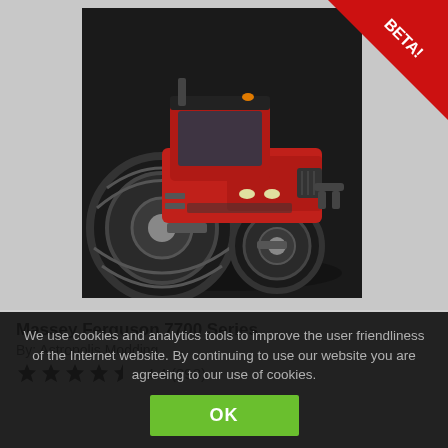[Figure (screenshot): A red Massey Ferguson 7700 Series tractor on dark background with a red BETA! banner in the top-right corner]
Massey Ferguson 7700 Series
By: Astropolis Modding
★★★★½ 4.4 (898)
We use cookies and analytics tools to improve the user friendliness of the Internet website. By continuing to use our website you are agreeing to our use of cookies.
OK